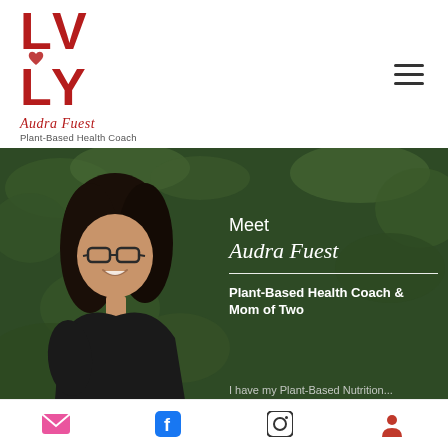[Figure (logo): LVLY logo in dark red with script text 'Audra Fuest' and subtitle 'Plant-Based Health Coach']
[Figure (photo): Hero section showing a smiling woman with glasses and dark hair wearing a black top, against a dark green leafy background, with overlay text: Meet / Audra Fuest / Plant-Based Health Coach & Mom of Two / I have my Plant-Based Nutrition...]
Meet
Audra Fuest
Plant-Based Health Coach & Mom of Two
I have my Plant-Based Nutrition
[Figure (infographic): Bottom navigation bar with email, Facebook, Instagram, and profile/person icons]